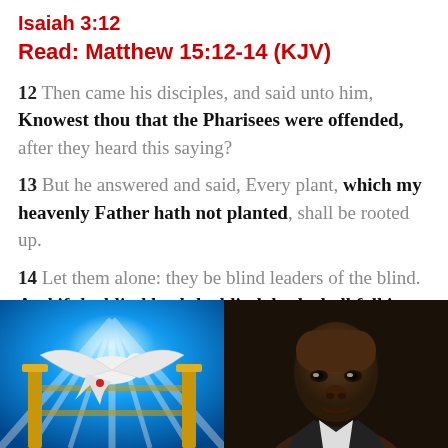Isaiah 3:12
Read: Matthew 15:12-14 (KJV)
12 Then came his disciples, and said unto him, Knowest thou that the Pharisees were offended, after they heard this saying?
13 But he answered and said, Every plant, which my heavenly Father hath not planted, shall be rooted up.
14 Let them alone: they be blind leaders of the blind. And if the blind lead the blind, both shall fall into the ditch.
[Figure (illustration): Illustration of a white dove with spread wings in front of golden gates, bright blue rays of light in background]
[Figure (photo): Portrait photo of an African American man against a dark background]